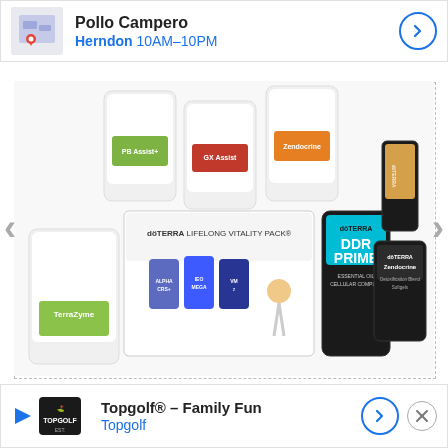[Figure (screenshot): Top advertisement banner for Pollo Campero restaurant in Herndon, showing map thumbnail, business name, hours 10AM-10PM, and a navigation arrow button]
[Figure (photo): doTERRA product photo showing various supplements: PB Assist+, GX Assist, Zendocrine, TerraZyme, doTERRA Lifelong Vitality Pack box with Alpha CRS+, IEO Mega, VMz, DDR Prime Essential Oil Cellular Complex, Zendocrine Detoxification Blend Softgels, and a doTERRA essential oil bottle. Carousel navigation arrows on left and right.]
LLV
TerraZyme
Ze...
Le...
[Figure (screenshot): Bottom advertisement banner for Topgolf - Family Fun, showing Topgolf logo, brand name in blue, and navigation arrow button with close X button]